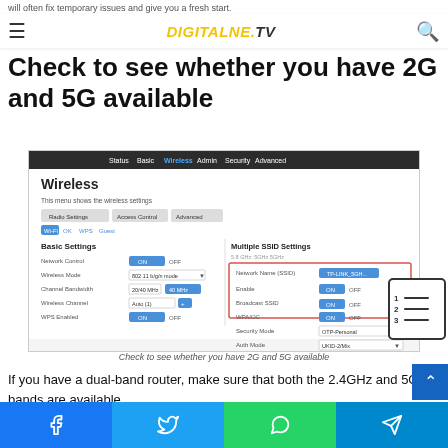will often fix temporary issues and give you a fresh start.
DIGITALNE.TV
Check to see whether you have 2G and 5G available
[Figure (screenshot): Router wireless settings admin panel showing Basic Settings and Multiple SSID Settings sections with network name, wireless mode, channel bandwidth, and enabled/disabled toggles.]
Check to see whether you have 2G and 5G available
If you have a dual-band router, make sure that both the 2.4GHz and 5GHz bands are available.